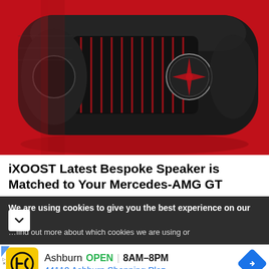[Figure (photo): Close-up photo of iXOOST bespoke Bluetooth speaker styled like a Mercedes-AMG GT front grille, dark metallic finish with vertical slats and Mercedes star emblem, on a vivid red background.]
iXOOST Latest Bespoke Speaker is Matched to Your Mercedes-AMG GT
We are using cookies to give you the best experience on our site.
…find out more about which cookies we are using or
[Figure (infographic): Advertisement for a business in Ashburn. Shows HC logo on yellow background, text: Ashburn OPEN 8AM–8PM, 44110 Ashburn Shopping Plaz..., with a blue navigation arrow icon.]